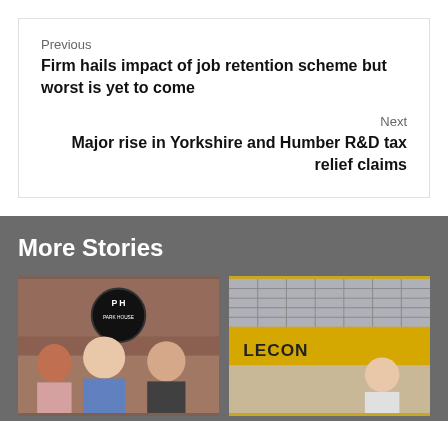Previous
Firm hails impact of job retention scheme but worst is yet to come
Next
Major rise in Yorkshire and Humber R&D tax relief claims
More Stories
[Figure (photo): Park House venue exterior with sign, two people smiling in foreground]
[Figure (photo): Lecon storefront with yellow signage and a person visible]